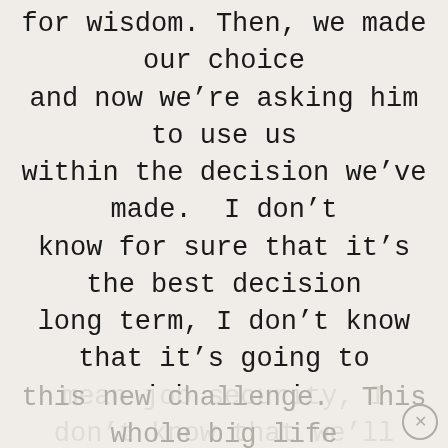for wisdom. Then, we made our choice and now we're asking him to use us within the decision we've made.  I don't know for sure that it's the best decision long term, I don't know that it's going to mean job security, I don't know that we'll be happy with it in 6 months, but for now we've made the best decision we can.
Today, Eric gave his notice at work and starts his new job in two weeks.  We're excited, a little nervous (because we know it will be tricky at first with my crazy TV work schedule), and ready to take on this new challenge.  This whole big life